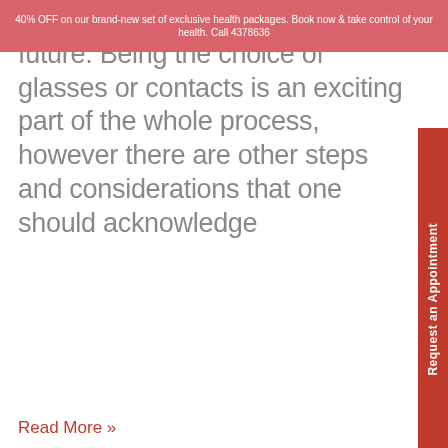40% OFF on our brand-new set of exclusive health packages. Book now & take control of your health. Call 4378636
large impact on one's life and future. Being the choice of glasses or contacts is an exciting part of the whole process, however there are other steps and considerations that one should acknowledge
Read More »
We use cookies on our website to give you the most relevant experience by remembering your preferences and repeat visits. By clicking "Accept All", you consent to the use of ALL the cookies. However, you may visit "Cookie Settings" to provide a controlled consent.
Cookie Settings
Accept All
Request an Appointment